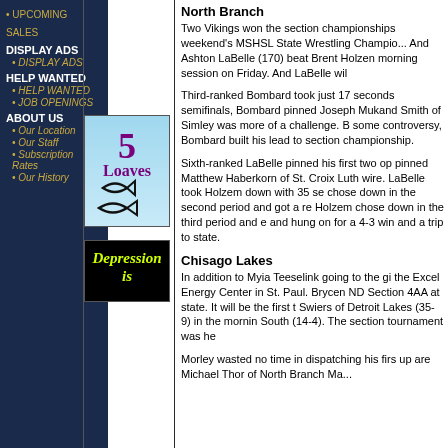• UPCOMING SALES
DISPLAY ADS
• DISPLAY ADS
HELP WANTED
• HELP WANTED
• JOB OPENINGS
ABOUT US
• Our Location
• Our Staff
• Subscription Rates
• Our History
[Figure (illustration): 5 Loaves advertisement with fish symbols on light blue background]
[Figure (illustration): Depression is... advertisement with yellow-green text on black background]
North Branch
Two Vikings won the section championships weekend's MSHSL State Wrestling Champio... And Ashton LaBelle (170) beat Brent Holzen morning session on Friday. And LaBelle wil
Third-ranked Bombard took just 17 seconds semifinals, Bombard pinned Joseph Mukand Smith of Simley was more of a challenge. B some controversy, Bombard built his lead to section championship.
Sixth-ranked LaBelle pinned his first two op pinned Matthew Haberkorn of St. Croix Luth wire. LaBelle took Holzem down with 35 se chose down in the second period and got a re Holzem chose down in the third period and e and hung on for a 4-3 win and a trip to state.
Chisago Lakes
In addition to Myia Teeselink going to the gi the Excel Energy Center in St. Paul. Brycen ND Section 4AA at state. It will be the first t Swiers of Detroit Lakes (35-9) in the mornin South (14-4). The section tournament was he
Morley wasted no time in dispatching his firs up are Michael Thor of North Branch Ma...